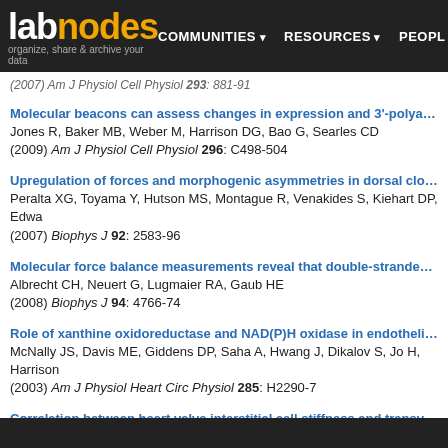labnodes — organize, share & archive your data | COMMUNITIES | RESOURCES | PEOPLE
(2007) Am J Physiol Cell Physiol 293: 881-91
Molecular beacons can assess changes in expression and 3'-polyadenylation
Jones R, Baker MB, Weber M, Harrison DG, Bao G, Searles CD
(2009) Am J Physiol Cell Physiol 296: C498-504
Upregulation of forces and morphogenic asymmetries in dorsal closure du
Peralta XG, Toyama Y, Hutson MS, Montague R, Venakides S, Kiehart DP, Edwa
(2007) Biophys J 92: 2583-96
Molecular force balance measurements reveal that double-stranded DNA u
Albrecht CH, Neuert G, Lugmaier RA, Gaub HE
(2008) Biophys J 94: 4766-74
Role of xanthine oxidoreductase and NAD(P)H oxidase in endothelial super
McNally JS, Davis ME, Giddens DP, Saha A, Hwang J, Dikalov S, Jo H, Harrison
(2003) Am J Physiol Heart Circ Physiol 285: H2290-7
Correlation between heart valve interstitial cell stiffness and transvalvular p
Merryman WD, Youn I, Lukoff HD, Krueger PM, Guilak F, Hopkins RA, Sacks MS
(2006) Am J Physiol Heart Circ Physiol 290: H224-31